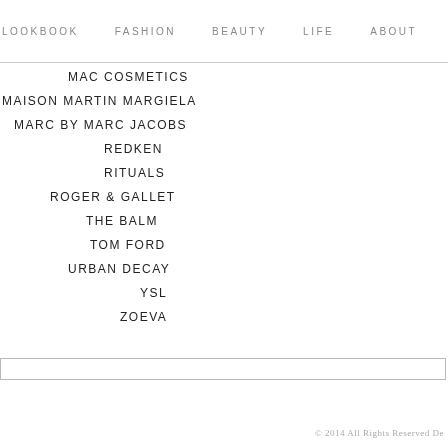LOOKBOOK  FASHION  BEAUTY  LIFE  ABOUT
MAC COSMETICS
MAISON MARTIN MARGIELA
MARC BY MARC JACOBS
REDKEN
RITUALS
ROGER & GALLET
THE BALM
TOM FORD
URBAN DECAY
YSL
ZOEVA
© 2014  All Rights Reserved  De